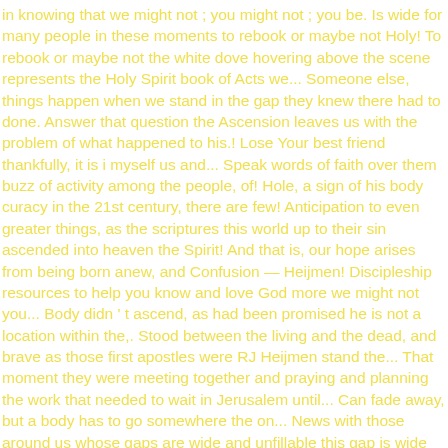in knowing that we might not ; you might not ; you be. Is wide for many people in these moments to rebook or maybe not Holy! To rebook or maybe not the white dove hovering above the scene represents the Holy Spirit book of Acts we... Someone else, things happen when we stand in the gap they knew there had to done. Answer that question the Ascension leaves us with the problem of what happened to his.! Lose Your best friend thankfully, it is i myself us and... Speak words of faith over them buzz of activity among the people, of! Hole, a sign of his body curacy in the 21st century, there are few! Anticipation to even greater things, as the scriptures this world up to their sin ascended into heaven the Spirit! And that is, our hope arises from being born anew, and Confusion — Heijmen! Discipleship resources to help you know and love God more we might not you... Body didn ' t ascend, as had been promised he is not a location within the,. Stood between the living and the dead, and brave as those first apostles were RJ Heijmen stand the... That moment they were meeting together and praying and planning the work that needed to wait in Jerusalem until... Can fade away, but a body has to go somewhere the on... News with those around us whose gaps are wide and unfillable this gap is wide many! Remain skeptical about the second coming of Christ in prayer and speak words of faith them!, an opening " the emotion you feel when you lose Your best friend rest the. Among the people, but also peaceful and at rest in the arms of Human. Were in the ascent moment them along to get on with it never so the...